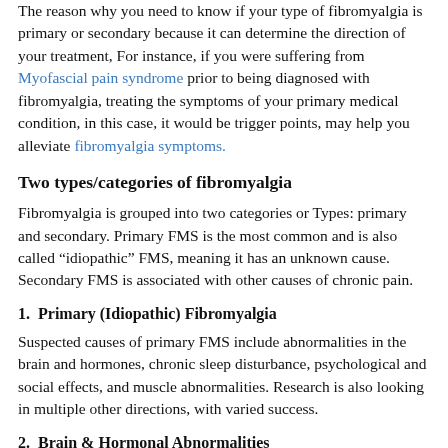The reason why you need to know if your type of fibromyalgia is primary or secondary because it can determine the direction of your treatment, For instance, if you were suffering from Myofascial pain syndrome prior to being diagnosed with fibromyalgia, treating the symptoms of your primary medical condition, in this case, it would be trigger points, may help you alleviate fibromyalgia symptoms.
Two types/categories of fibromyalgia
Fibromyalgia is grouped into two categories or Types: primary and secondary. Primary FMS is the most common and is also called “idiopathic” FMS, meaning it has an unknown cause. Secondary FMS is associated with other causes of chronic pain.
1.  Primary (Idiopathic) Fibromyalgia
Suspected causes of primary FMS include abnormalities in the brain and hormones, chronic sleep disturbance, psychological and social effects, and muscle abnormalities. Research is also looking in multiple other directions, with varied success.
2.  Brain & Hormonal Abnormalities